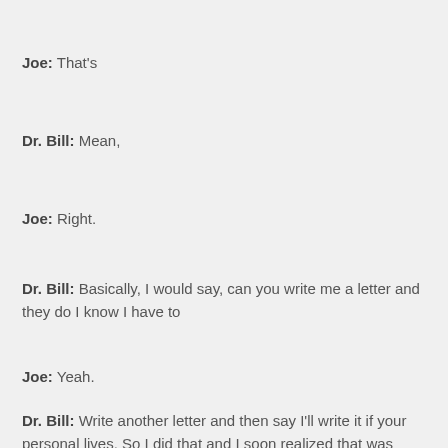Joe: That's
Dr. Bill: Mean,
Joe: Right.
Dr. Bill: Basically, I would say, can you write me a letter and they do I know I have to
Joe: Yeah.
Dr. Bill: Write another letter and then say I'll write it if your personal lives. So I did that and I soon realized that was getting me nowhere. So then I started calling the director of the clinic back in nineteen eighty three. This was not easy. We didn't have cell phones. You know. I you know. I couldn't